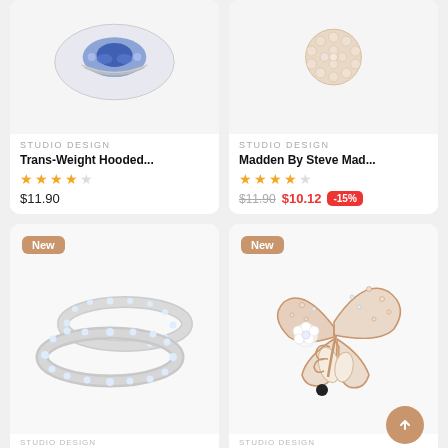[Figure (photo): Blue gemstone jewelry (bracelet/necklace) with sapphire crystals on light background]
STUDIO DESIGN
Trans-Weight Hooded...
★★★★☆
$11.90
[Figure (photo): Pearl/bead clustered jewelry brooch or necklace on light background]
STUDIO DESIGN
Madden By Steve Mad...
★★★★☆
$11.90  $10.12  -15%
[Figure (photo): Two diamond eternity rings (silver/white gold) overlapping on white background, New badge]
[Figure (photo): Rose gold butterfly brooch with crystals and mother of pearl on light background, New badge, scroll-up button]